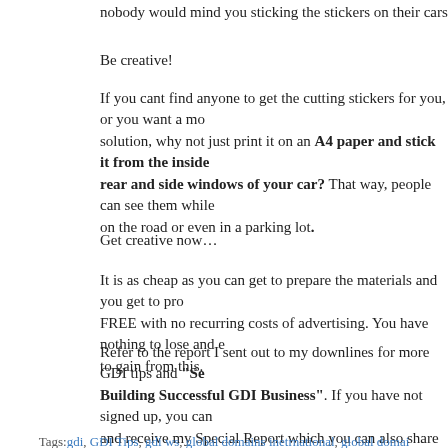nobody would mind you sticking the stickers on their cars.
Be creative!
If you cant find anyone to get the cutting stickers for you, or you want a more solution, why not just print it on an A4 paper and stick it from the inside rear and side windows of your car? That way, people can see them while on the road or even in a parking lot.
Get creative now…
It is as cheap as you can get to prepare the materials and you get to promote FREE with no recurring costs of advertising. You have nothing to lose and everything to gain from this.
Refer to the report I sent out to my downlines for more GDI tips and "Secrets to Building Successful GDI Business". If you have not signed up, you can and receive my Special Report which you can also share with your downlines.
Tags: gdi, GDI Tips, gdi ws, global domains inetrnational, global domains international inc, global domains international ws
Posted in GDI Tips | Comments Closed
Best Way to Promote GDI
Thursday, July 31st, 2008
Which is the Best Way to Promote G...